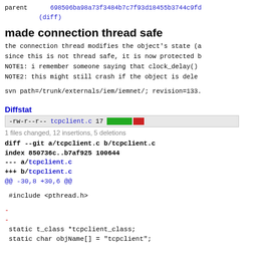parent   698506ba98a73f3484b7c7f93d18455b3744c9fd
         (diff)
made connection thread safe
the connection thread modifies the object's state (a
since this is not thread safe, it is now protected b
NOTE1: i remember someone saying that clock_delay()
NOTE2: this might still crash if the object is dele
svn path=/trunk/externals/iem/iemnet/; revision=133.
Diffstat
| file | count | bar |
| --- | --- | --- |
| -rw-r--r-- | tcpclient.c | 17 | [bar] |
1 files changed, 12 insertions, 5 deletions
diff --git a/tcpclient.c b/tcpclient.c
index 850736c..b7af925 100644
--- a/tcpclient.c
+++ b/tcpclient.c
@@ -30,8 +30,6 @@

 #include <pthread.h>

-
-
 static t_class *tcpclient_class;
 static char objName[] = "tcpclient";